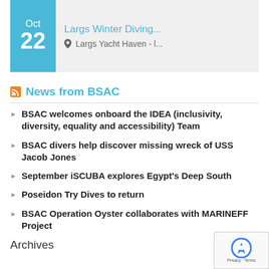[Figure (other): Event card showing Oct 22 date in teal box with 'Largs Winter Diving...' title and 'Largs Yacht Haven - l...' location]
News from BSAC
BSAC welcomes onboard the IDEA (inclusivity, diversity, equality and accessibility) Team
BSAC divers help discover missing wreck of USS Jacob Jones
September iSCUBA explores Egypt's Deep South
Poseidon Try Dives to return
BSAC Operation Oyster collaborates with MARINEFF Project
Archives